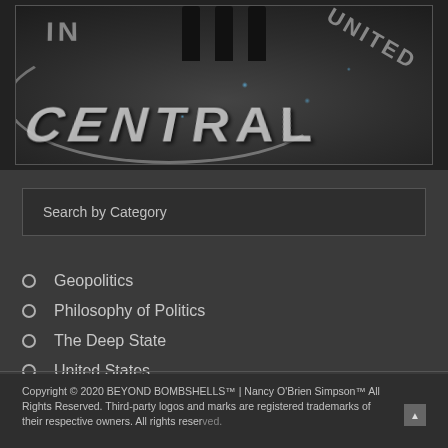[Figure (photo): Photograph of the CIA headquarters lobby floor showing the Central Intelligence Agency seal with people standing on it, taken from above at an angle. The dark granite floor has white lettering spelling 'CENTRAL' and partial text visible in a circular pattern.]
Search by Category
Geopolitics
Philosophy of Politics
The Deep State
United States
Copyright © 2020 BEYOND BOMBSHELLS™ | Nancy O'Brien Simpson™ All Rights Reserved. Third-party logos and marks are registered trademarks of their respective owners. All rights reserved.